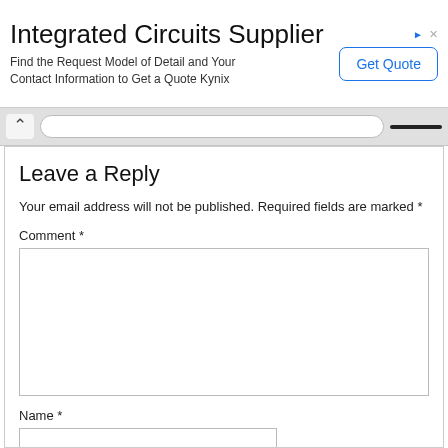[Figure (screenshot): Advertisement banner for Integrated Circuits Supplier by Kynix with a 'Get Quote' button]
Integrated Circuits Supplier
Find the Request Model of Detail and Your Contact Information to Get a Quote Kynix
Leave a Reply
Your email address will not be published. Required fields are marked *
Comment *
Name *
Email *